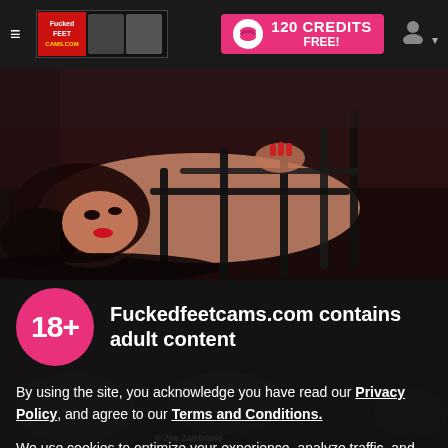Fuckedfeetcams.com — 120 CREDITS FREE!
[Figure (photo): Woman in black leather lingerie lying on a dark leather surface, adult content website hero image]
Fuckedfeetcams.com contains adult content
By using the site, you acknowledge you have read our Privacy Policy, and agree to our Terms and Conditions.
We use cookies to optimize your experience, analyze traffic, and deliver more personalized service. To learn more, please see our Privacy Policy.
I AGREE